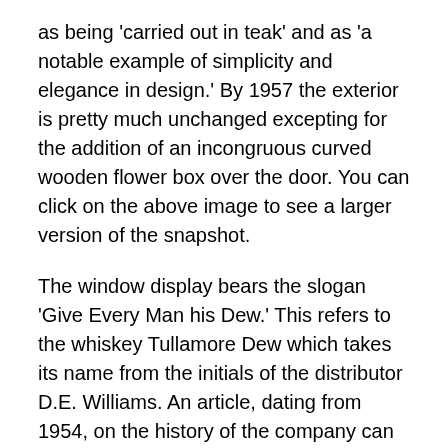as being 'carried out in teak' and as 'a notable example of simplicity and elegance in design.' By 1957 the exterior is pretty much unchanged excepting for the addition of an incongruous curved wooden flower box over the door. You can click on the above image to see a larger version of the snapshot.
The window display bears the slogan 'Give Every Man his Dew.' This refers to the whiskey Tullamore Dew which takes its name from the initials of the distributor D.E. Williams. An article, dating from 1954, on the history of the company can be found here. Now an Italian restaurant called Nico's (one of the oldest Italian restaurants in the city) which first opened in 1963. It is mentioned in this piece from the Dublin blog 'Come Here to Me' that also includes a really nice photograph of the building taken in recent years. This review also references the restaurant's